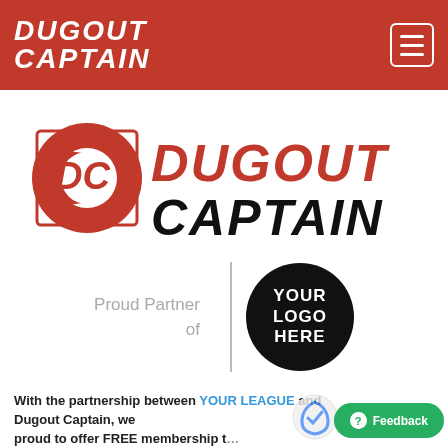[Figure (logo): Dugout Captain logo in white text on red header background, with hamburger menu icon on right]
[Figure (logo): Dugout Captain large logo: red DC icon on left, red DUGOUT and black CAPTAIN text on right]
[Figure (infographic): Proud Partner of section with gray text on left, vertical divider line, and black circle with YOUR LOGO HERE text on right]
With the partnership between YOUR LEAGUE and Dugout Captain, we proud to offer FREE membership t...